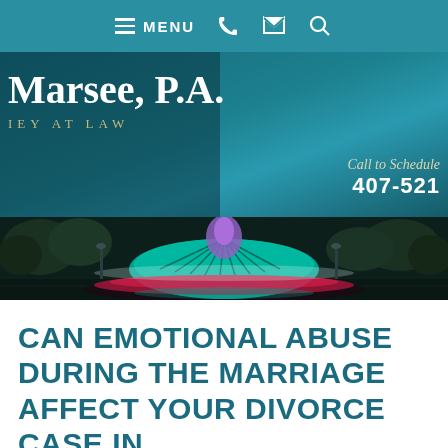MENU [navigation bar with phone, email, and search icons]
[Figure (screenshot): Law firm header with firm name 'Marsee, P.A.' and subtitle 'ATTORNEY AT LAW', teal background, 'Call to Schedule 407-521...' text]
[Figure (photo): Outdoor fountain photo with colorful teal and purple lighting at night, trees in background]
CAN EMOTIONAL ABUSE DURING THE MARRIAGE AFFECT YOUR DIVORCE CASE IN FLORIDA?